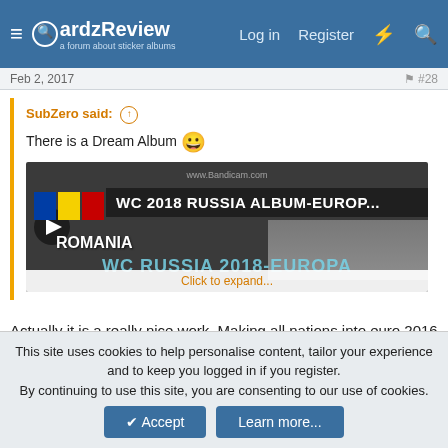CardzReview — Log in  Register
Feb 2, 2017
SubZero said: ↑
There is a Dream Album 😀
[WC 2018 RUSSIA ALBUM-EUROP... / WC RUSSIA 2018-EUROPA]
Click to expand...
Actually it is a really nice work. Making all nations into euro 2016 design. LIKE. Too sad it remains a dream.
This site uses cookies to help personalise content, tailor your experience and to keep you logged in if you register.
By continuing to use this site, you are consenting to our use of cookies.